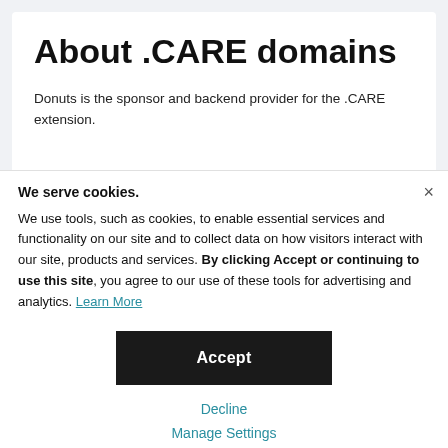About .CARE domains
Donuts is the sponsor and backend provider for the .CARE extension.
We serve cookies.
We use tools, such as cookies, to enable essential services and functionality on our site and to collect data on how visitors interact with our site, products and services. By clicking Accept or continuing to use this site, you agree to our use of these tools for advertising and analytics. Learn More
Accept
Decline
Manage Settings
encing requirements